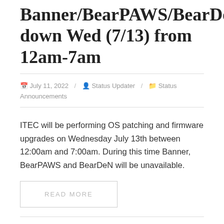Banner/BearPAWS/BearDeN down Wed (7/13) from 12am-7am
July 11, 2022 / Status Updater / Status Announcements
ITEC will be performing OS patching and firmware upgrades on Wednesday July 13th between 12:00am and 7:00am. During this time Banner, BearPAWS and BearDeN will be unavailable.
READ MORE
[COMPLETE] Internet Service